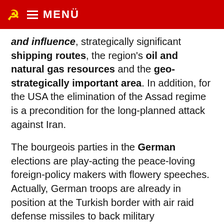MENÜ
and influence, strategically significant shipping routes, the region's oil and natural gas resources and the geo-strategically important area. In addition, for the USA the elimination of the Assad regime is a precondition for the long-planned attack against Iran.
The bourgeois parties in the German elections are play-acting the peace-loving foreign-policy makers with flowery speeches. Actually, German troops are already in position at the Turkish border with air raid defense missiles to back military aggressions.
Therefore:
USA and NATO – Hands off Syria!